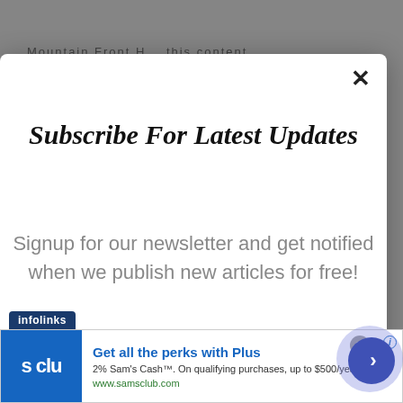Mountain Front H... this content ...
Subscribe For Latest Updates
Signup for our newsletter and get notified when we publish new articles for free!
[Figure (screenshot): Infolinks advertisement banner for Sam's Club featuring 's clu' logo, headline 'Get all the perks with Plus', subtext '2% Sam’s Cash™. On qualifying purchases, up to $500/year.', URL 'www.samsclub.com', and a blue arrow button.]